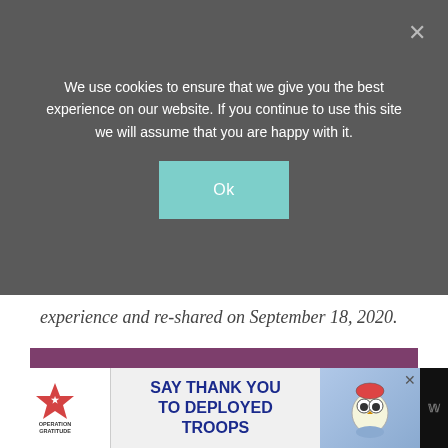We use cookies to ensure that we give you the best experience on our website. If you continue to use this site we will assume that you are happy with it.
Ok
experience and re-shared on September 18, 2020.
If you make this recipe, I’d love to know! Snap a picture, share the photo on social media with the hashtag #AnAffairFromTheHeart – I’d love to see what you made! – Michaela
[Figure (infographic): Operation Gratitude ad banner: SAY THANK YOU TO DEPLOYED TROOPS]
[Figure (logo): Operation Gratitude logo with star and text]